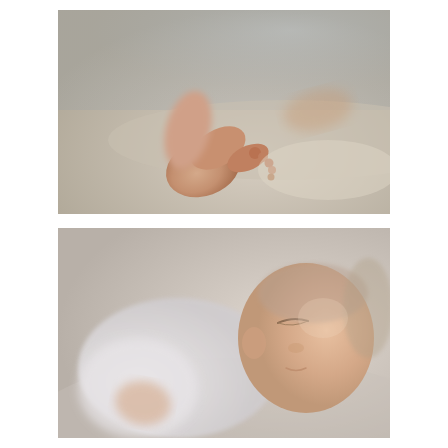[Figure (photo): Close-up photograph of a newborn baby's tiny feet resting on a light beige/cream surface. The image is softly focused with the small foot prominently in the foreground. A decorative monogram logo with the letter N is visible in the upper right corner of the photo.]
[Figure (photo): Close-up photograph of a sleeping newborn baby dressed in white clothing, resting their head on a light surface. The baby's face is peaceful and serene. A decorative monogram logo with the letter N is visible in the lower left corner of the photo.]